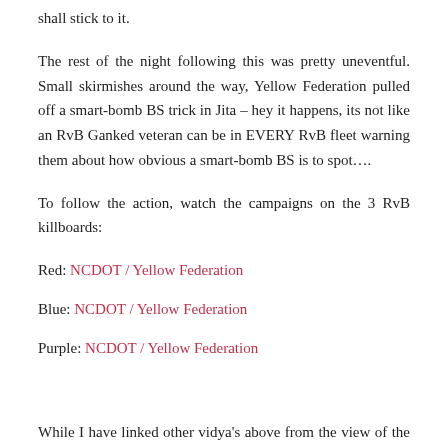shall stick to it.
The rest of the night following this was pretty uneventful. Small skirmishes around the way, Yellow Federation pulled off a smart-bomb BS trick in Jita – hey it happens, its not like an RvB Ganked veteran can be in EVERY RvB fleet warning them about how obvious a smart-bomb BS is to spot….
To follow the action, watch the campaigns on the 3 RvB killboards:
Red: NCDOT / Yellow Federation
Blue: NCDOT / Yellow Federation
Purple: NCDOT / Yellow Federation
While I have linked other vidya's above from the view of the smaller veteran RvB fleet, the following are taken from the view point of